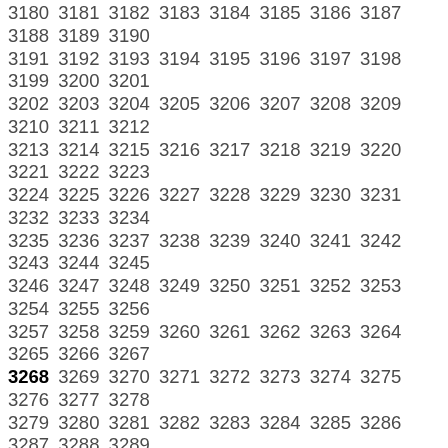3180 3181 3182 3183 3184 3185 3186 3187 3188 3189 3190 3191 3192 3193 3194 3195 3196 3197 3198 3199 3200 3201 3202 3203 3204 3205 3206 3207 3208 3209 3210 3211 3212 3213 3214 3215 3216 3217 3218 3219 3220 3221 3222 3223 3224 3225 3226 3227 3228 3229 3230 3231 3232 3233 3234 3235 3236 3237 3238 3239 3240 3241 3242 3243 3244 3245 3246 3247 3248 3249 3250 3251 3252 3253 3254 3255 3256 3257 3258 3259 3260 3261 3262 3263 3264 3265 3266 3267 3268 3269 3270 3271 3272 3273 3274 3275 3276 3277 3278 3279 3280 3281 3282 3283 3284 3285 3286 3287 3288 3289 3290 3291 3292 3293 3294 3295 3296 3297 3298 3299 3300 3301 3302 3303 3304 3305 3306 3307 3308 3309 3310 3311 3312 3313 3314 3315 3316 3317 3318 3319 3320 3321 3322 3323 3324 3325 3326 3327 3328 3329 3330 3331 3332 3333 3334 3335 3336 3337 3338 3339 3340 3341 3342 3343 3344 3345 3346 3347 3348 3349 3350 3351 3352 3353 3354 3355 3356 3357 3358 3359 3360 3361 3362 3363 3364 3365 3366 3367 3368 3369 3370 3371 3372 3373 3374 3375 3376 3377 3378 3379 3380 3381 3382 3383 3384 3385 3386 3387 3388 3389 3390 3391 3392 3393 3394 3395 3396 3397 3398 3399